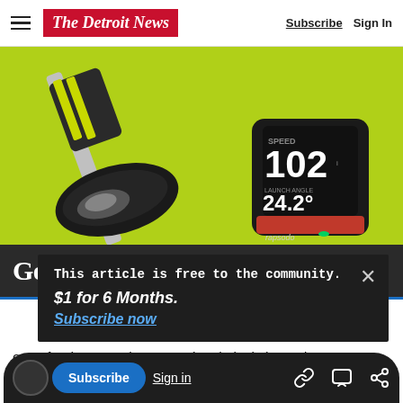The Detroit News | Subscribe | Sign In
[Figure (photo): Hero image showing a golf club driver head and a Rapsodo launch monitor device on a bright green background. The device screen shows SPEED 102 and LAUNCH ANGLE 24.2°.]
[Figure (infographic): Golfweek banner advertisement with dark background. Left: 'Golfweek' in white serif font. Right: 'ENTER NOW ▶' in yellow-green bold italic.]
This article is free to the community.
$1 for 6 Months.
Subscribe now
ouse for the annual congressional picnic hosted